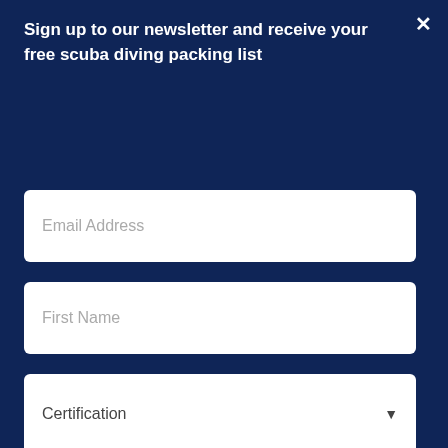Sign up to our newsletter and receive your free scuba diving packing list
[Figure (screenshot): Email Address input field (white rounded rectangle)]
[Figure (screenshot): First Name input field (white rounded rectangle)]
[Figure (screenshot): Certification dropdown field (white rounded rectangle with down arrow)]
[Figure (screenshot): Sign up button (red/crimson rounded rectangle)]
Russell Bowyer on Buddy commando BCD review (Nearly 30 years without failure)
08/08/2022
[Figure (screenshot): CVS Pharmacy ad: Photo Quality Guaranteed - CVS Photo]